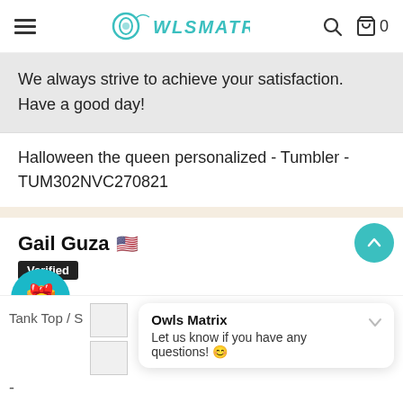OwlsMatrix — navigation bar with hamburger menu, logo, search icon, and cart (0)
We always strive to achieve your satisfaction.
Have a good day!
Halloween the queen personalized - Tumbler - TUM302NVC270821
Gail Guza 🇺🇸
Verified
/22  ★★★★
Tank Top / S
Owls Matrix
Let us know if you have any questions! 😊